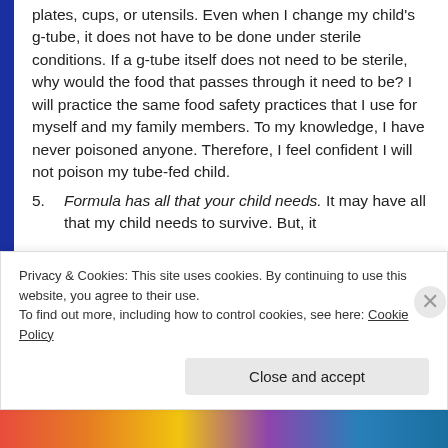plates, cups, or utensils. Even when I change my child's g-tube, it does not have to be done under sterile conditions. If a g-tube itself does not need to be sterile, why would the food that passes through it need to be? I will practice the same food safety practices that I use for myself and my family members. To my knowledge, I have never poisoned anyone. Therefore, I feel confident I will not poison my tube-fed child.
5. Formula has all that your child needs. It may have all that my child needs to survive. But, it
Privacy & Cookies: This site uses cookies. By continuing to use this website, you agree to their use. To find out more, including how to control cookies, see here: Cookie Policy